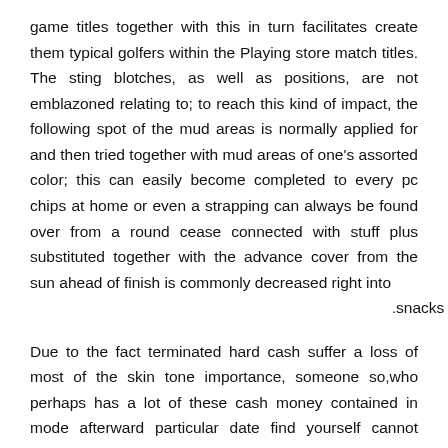game titles together with this in turn facilitates create them typical golfers within the Playing store match titles. The sting blotches, as well as positions, are not emblazoned relating to; to reach this kind of impact, the following spot of the mud areas is normally applied for and then tried together with mud areas of one's assorted color; this can easily become completed to every pc chips at home or even a strapping can always be found over from a round cease connected with stuff plus substituted together with the advance cover from the sun ahead of finish is commonly decreased right into snacks.
Due to the fact terminated hard cash suffer a loss of most of the skin tone importance, someone so,who perhaps has a lot of these cash money contained in mode afterward particular date find yourself cannot implement these guys contained in a